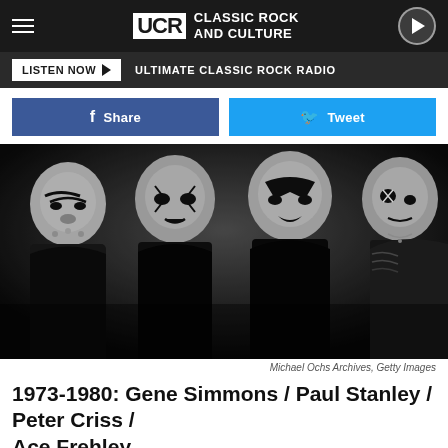UCR Classic Rock and Culture — LISTEN NOW — ULTIMATE CLASSIC ROCK RADIO
Share | Tweet
[Figure (photo): Black and white photo of KISS band members in full makeup and costumes: Gene Simmons / Paul Stanley / Peter Criss / Ace Frehley, circa 1973-1980]
Michael Ochs Archives, Getty Images
1973-1980: Gene Simmons / Paul Stanley / Peter Criss / Ace Frehley